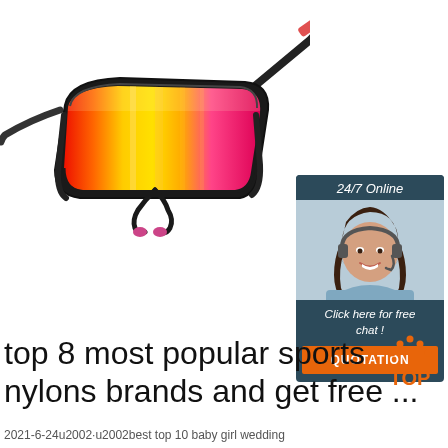[Figure (photo): Sports cycling sunglasses with colorful red/yellow/pink mirror lens and black frame, shown against white background]
[Figure (infographic): 24/7 Online chat widget with female customer service agent wearing headset, dark teal background, 'Click here for free chat!' text, and orange QUOTATION button]
top 8 most popular sports nylons brands and get free ...
[Figure (logo): TOP badge logo with orange dots arranged in triangle and orange TOP text]
2021-6-24u2002·u2002best top 10 baby girl wedding